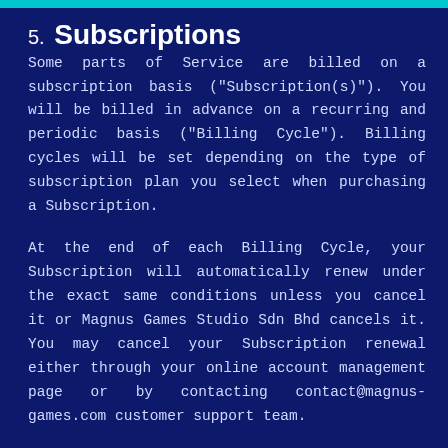5. Subscriptions
Some parts of Service are billed on a subscription basis ("Subscription(s)"). You will be billed in advance on a recurring and periodic basis ("Billing Cycle"). Billing cycles will be set depending on the type of subscription plan you select when purchasing a Subscription.
At the end of each Billing Cycle, your Subscription will automatically renew under the exact same conditions unless you cancel it or Magnus Games Studio Sdn Bhd cancels it. You may cancel your Subscription renewal either through your online account management page or by contacting contact@magnus-games.com customer support team.